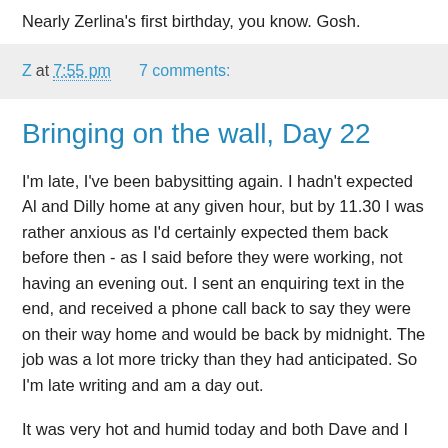Nearly Zerlina's first birthday, you know. Gosh.
Z at 7:55 pm   7 comments:
Bringing on the wall, Day 22
I'm late, I've been babysitting again. I hadn't expected Al and Dilly home at any given hour, but by 11.30 I was rather anxious as I'd certainly expected them back before then - as I said before they were working, not having an evening out. I sent an enquiring text in the end, and received a phone call back to say they were on their way home and would be back by midnight. The job was a lot more tricky than they had anticipated. So I'm late writing and am a day out.
It was very hot and humid today and both Dave and I found it a bit of an effort to work for too long, so we made a fairly short morning of it. I tried to find the weather forecast this morning and looked on the BBC website, which is rubbish - at least, the weather forecast part of it is. The day's overall